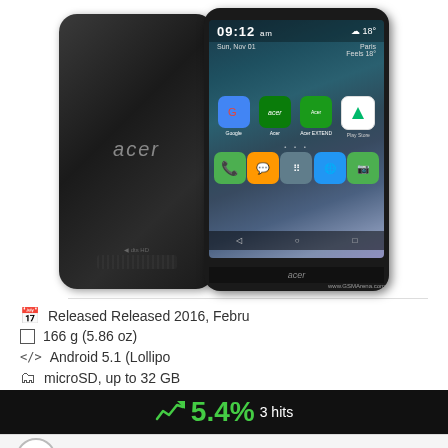[Figure (photo): Two Acer smartphones — back view (dark metallic) and front view showing Android home screen with time 09:12 am, weather icon, and app icons]
Released Released 2016, Febru
166 g (5.86 oz)
Android 5.1 (Lollipo
microSD, up to 32 GB
[Figure (infographic): Black bar showing popularity: trending chart icon, 5.4% in green, 3 hits in white]
5.5"
720x1280 pixels